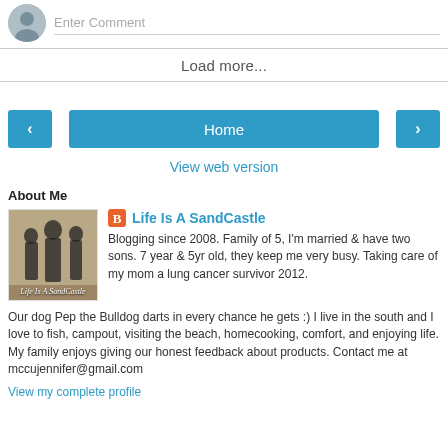[Figure (screenshot): Comment input area with avatar photo and 'Enter Comment' placeholder text input field]
Load more...
‹   Home   ›  navigation buttons
View web version
About Me
[Figure (photo): Blog thumbnail photo showing silhouettes of people against a light background, with 'Life Is A SandCastle' text overlay]
Life Is A SandCastle
Blogging since 2008. Family of 5, I'm married & have two sons. 7 year & 5yr old, they keep me very busy. Taking care of my mom a lung cancer survivor 2012. Our dog Pep the Bulldog darts in every chance he gets :) I live in the south and I love to fish, campout, visiting the beach, homecooking, comfort, and enjoying life. My family enjoys giving our honest feedback about products. Contact me at mccujennifer@gmail.com
View my complete profile